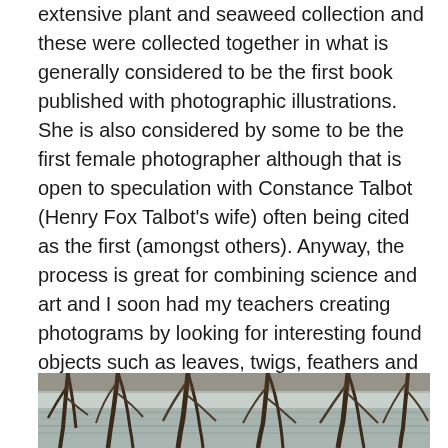extensive plant and seaweed collection and these were collected together in what is generally considered to be the first book published with photographic illustrations. She is also considered by some to be the first female photographer although that is open to speculation with Constance Talbot (Henry Fox Talbot's wife) often being cited as the first (amongst others). Anyway, the process is great for combining science and art and I soon had my teachers creating photograms by looking for interesting found objects such as leaves, twigs, feathers and sand to create images with. They then laid the objects on the light sensitive paper and placed a piece of perspex over the top to hold them in place whilst we waited for the weak sun to do its work.
[Figure (photo): Black and white photograph showing bare tree branches or twigs against a light background, possibly near water.]